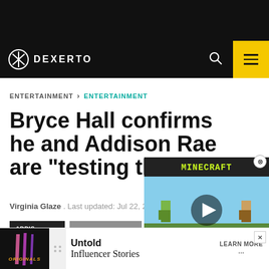DEXERTO
ENTERTAINMENT > ENTERTAINMENT
Bryce Hall confirms he and Addison Rae are "testing the waters"
Virginia Glaze . Last updated: Jul 22, 2020
ADDISON RAE | ENTERTAINMENT
[Figure (screenshot): Minecraft advertisement overlay with yellow background, game characters, play button, and MINECRAFT! footer text]
[Figure (screenshot): Bottom advertisement banner for Untold Influencer Stories with Originals logo on dark background, learn more button]